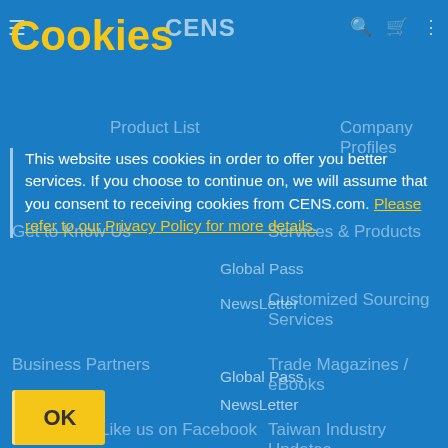Cookies
This website uses cookies in order to offer you better services. If you choose to continue on, we will assume that you consent to receiving cookies from CENS.com. Please refer to our Privacy Policy for more details.
OK
Global Pass
NewsLetter
My CENS
Help
Join Free Now
Global Buyers' Most Trusted Taiwan Supplier Platform
[Figure (screenshot): App Store and Google Play download buttons for CENS app, with CENS logo icon]